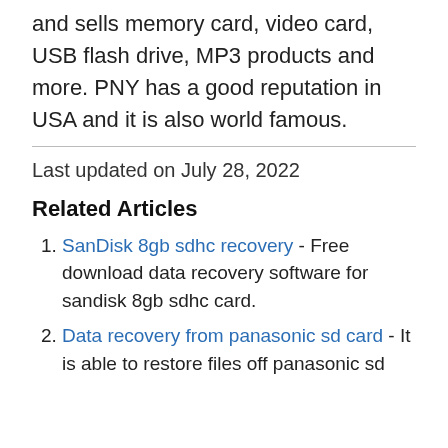and sells memory card, video card, USB flash drive, MP3 products and more. PNY has a good reputation in USA and it is also world famous.
Last updated on July 28, 2022
Related Articles
SanDisk 8gb sdhc recovery - Free download data recovery software for sandisk 8gb sdhc card.
Data recovery from panasonic sd card - It is able to restore files off panasonic sd